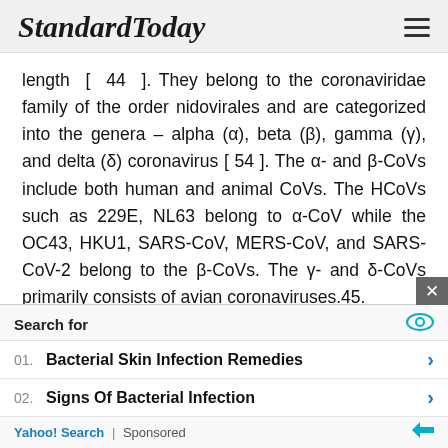StandardToday
length [ 44 ]. They belong to the coronaviridae family of the order nidovirales and are categorized into the genera – alpha (α), beta (β), gamma (γ), and delta (δ) coronavirus [ 54 ]. The α- and β-CoVs include both human and animal CoVs. The HCoVs such as 229E, NL63 belong to α-CoV while the OC43, HKU1, SARS-CoV, MERS-CoV, and SARS-CoV-2 belong to the β-CoVs. The γ- and δ-CoVs primarily consists of avian coronaviruses.45.
Search for
01.  Bacterial Skin Infection Remedies
02.  Signs Of Bacterial Infection
Yahoo! Search | Sponsored